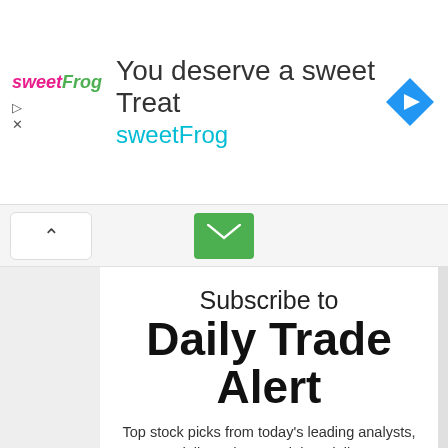[Figure (screenshot): SweetFrog advertisement banner showing 'You deserve a sweet Treat' and 'sweetFrog' brand with navigation icon]
Subscribe to Daily Trade Alert
Top stock picks from today's leading analysts, delivered to your inbox daily.
[Figure (screenshot): Email input field with placeholder 'Email', required star, and envelope icon]
[Figure (screenshot): Captcha field with code '02wld' and placeholder 'Retype the code...']